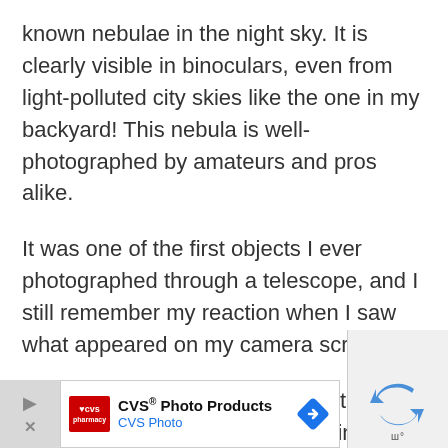known nebulae in the night sky. It is clearly visible in binoculars, even from light-polluted city skies like the one in my backyard! This nebula is well-photographed by amateurs and pros alike.
It was one of the first objects I ever photographed through a telescope, and I still remember my reaction when I saw what appeared on my camera screen.
As a matter of fact, I kept one of the very first images I took of Orion back in 2010 with my Canon Powershot Point-and-shoot camera…
[Figure (other): Advertisement banner for CVS Photo Products with CVS pharmacy logo, CVS Photo text, a blue diamond navigation icon, and reCAPTCHA widget visible at right edge.]